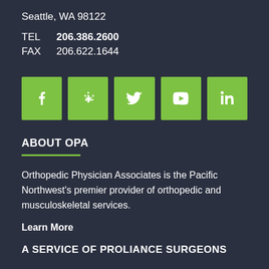Seattle, WA 98122
TEL  206.386.2600
FAX  206.622.1644
[Figure (infographic): Five green square social media icons in a row: Facebook (f), Yelp (star/flower), Twitter (bird), YouTube (play button), LinkedIn (in)]
ABOUT OPA
Orthopedic Physician Associates is the Pacific Northwest's premier provider of orthopedic and musculoskeletal services.
Learn More
A SERVICE OF PROLIANCE SURGEONS